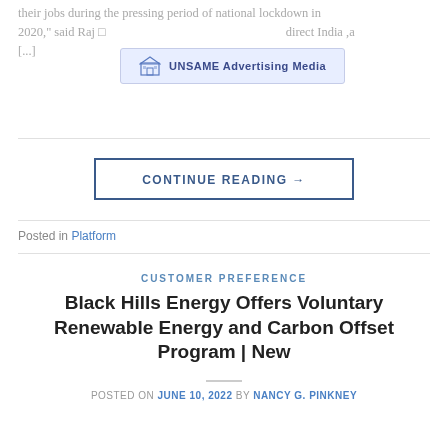their jobs during the pressing period of national lockdown in 2020, said Raj [...] direct India, a [...]
[Figure (logo): UNSAME Advertising Media banner/logo with building icon]
CONTINUE READING →
Posted in Platform
CUSTOMER PREFERENCE
Black Hills Energy Offers Voluntary Renewable Energy and Carbon Offset Program | New
POSTED ON JUNE 10, 2022 BY NANCY G. PINKNEY
[Figure (illustration): NEWS text graphic with nature/landscape imagery (mountains, flowers) filling the letters, date box showing 10 Jun on the left]